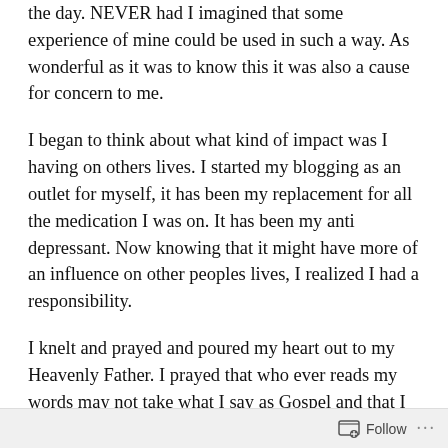the day. NEVER had I imagined that some experience of mine could be used in such a way. As wonderful as it was to know this it was also a cause for concern to me.
I began to think about what kind of impact was I having on others lives. I started my blogging as an outlet for myself, it has been my replacement for all the medication I was on. It has been my anti depressant. Now knowing that it might have more of an influence on other peoples lives, I realized I had a responsibility.
I knelt and prayed and poured my heart out to my Heavenly Father. I prayed that who ever reads my words may not take what I say as Gospel and that I may be mindful of not becoming boastful, self righteous, or appearing holier than thou. I prayed that I may know that I had His approval at all times and if I should
Follow ···